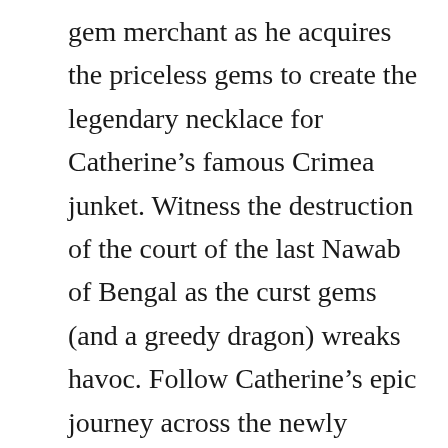gem merchant as he acquires the priceless gems to create the legendary necklace for Catherine's famous Crimea junket. Witness the destruction of the court of the last Nawab of Bengal as the curst gems (and a greedy dragon) wreaks havoc. Follow Catherine's epic journey across the newly captured Crimea as elite European diplomats and spies plot to either expose or else sabotage the geopolitical coup of the century. And meet the famous and infamous Prince Potemkin the mad architect of the Crimea Conquest which one hundred years later triggers the bloody Crimea War. Then follow Bill Sikes as he fights for his life in a modern day